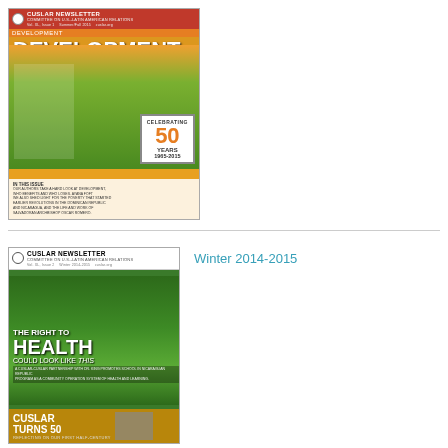[Figure (photo): Cover of CUSLAR Newsletter, Summer/Fall 2015, Vol. XL Issue 1. Title reads 'DEVELOPMENT WHO'S IN WHO'S OUT' with celebrating 50 years 1965-2015 badge. Shows black and white illustration of farm workers against green/orange background.]
[Figure (photo): Cover of CUSLAR Newsletter, Winter 2014-2015, Vol. XL Issue 2. Title reads 'THE RIGHT TO HEALTH COULD LOOK LIKE THIS' with lush green tropical foliage background. Bottom banner reads 'CUSLAR TURNS 50 REFLECTING ON OUR FIRST HALF-CENTURY'.]
Winter 2014-2015